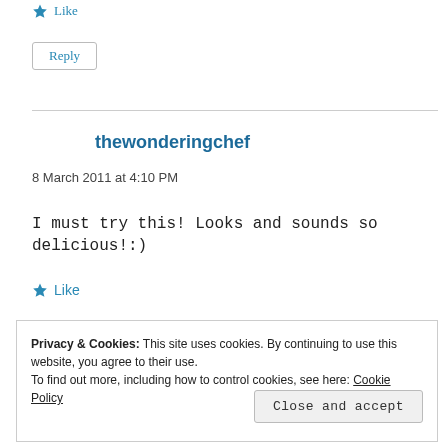★ Like
Reply
thewonderingchef
8 March 2011 at 4:10 PM
I must try this! Looks and sounds so delicious!:)
★ Like
Privacy & Cookies: This site uses cookies. By continuing to use this website, you agree to their use.
To find out more, including how to control cookies, see here: Cookie Policy
Close and accept